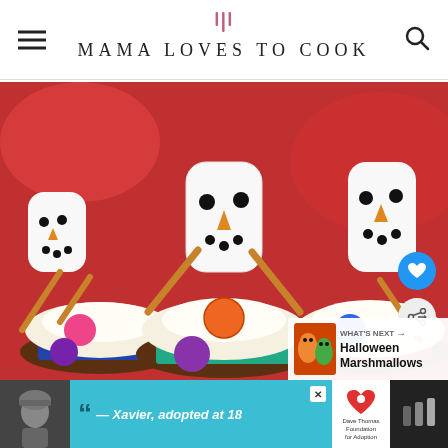MAMA LOVES TO COOK
[Figure (photo): Snowman cupcakes decorated with marshmallow heads, pretzel stick arms, M&M candy buttons on white frosting]
WHAT'S NEXT → Halloween Marshmallows
[Figure (other): Advertisement banner: Xavier, adopted at 18 - Dave Thomas Foundation for Adoption]